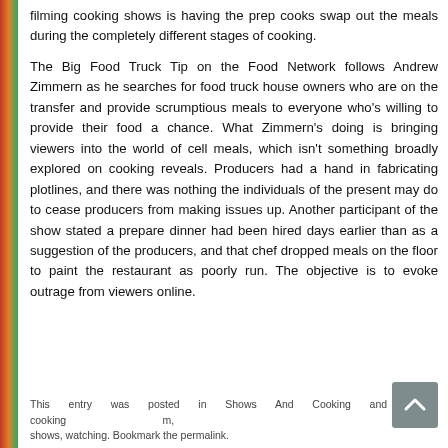filming cooking shows is having the prep cooks swap out the meals during the completely different stages of cooking.
The Big Food Truck Tip on the Food Network follows Andrew Zimmern as he searches for food truck house owners who are on the transfer and provide scrumptious meals to everyone who's willing to provide their food a chance. What Zimmern's doing is bringing viewers into the world of cell meals, which isn't something broadly explored on cooking reveals. Producers had a hand in fabricating plotlines, and there was nothing the individuals of the present may do to cease producers from making issues up. Another participant of the show stated a prepare dinner had been hired days earlier than as a suggestion of the producers, and that chef dropped meals on the floor to paint the restaurant as poorly run. The objective is to evoke outrage from viewers online.
This entry was posted in Shows And Cooking and tagged cooking, m, shows, watching. Bookmark the permalink.